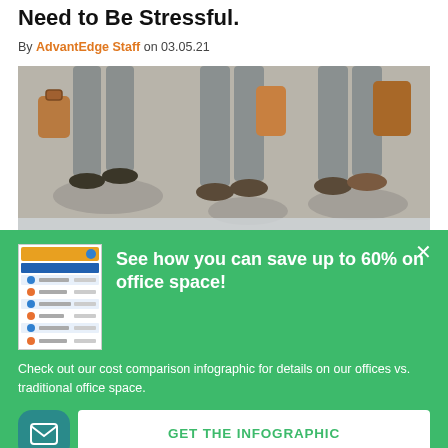Need to Be Stressful.
By AdvantEdge Staff on 03.05.21
[Figure (photo): Photo of people walking, showing legs and feet from waist down, with text overlay 'ONBOARDING NEW EMPLOYEES' at the bottom of the image.]
See how you can save up to 60% on office space!
[Figure (infographic): Small thumbnail of an infographic showing a cost comparison table with blue and orange headers and rows with icons.]
Check out our cost comparison infographic for details on our offices vs. traditional office space.
GET THE INFOGRAPHIC